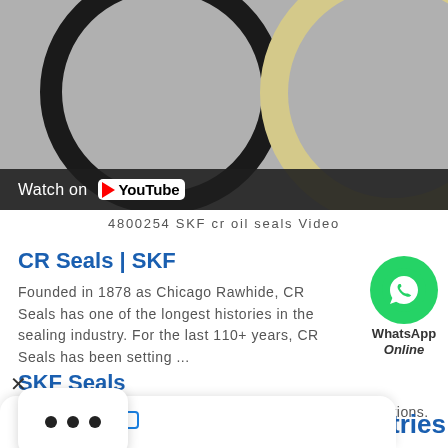[Figure (screenshot): YouTube video thumbnail showing two sealing rings on grey background, with YouTube Watch button overlay]
4800254 SKF cr oil seals Video
CR Seals | SKF
Founded in 1878 as Chicago Rawhide, CR Seals has one of the longest histories in the sealing industry. For the last 110+ years, CR Seals has been setting ...
[Figure (logo): WhatsApp Online contact bubble with green circle phone icon, WhatsApp label and Online text]
SKF Seals
ng Solutions for industrial, automotive and y duty applications.
[Figure (screenshot): Three dots menu popup overlay]
Chat now
ndustries